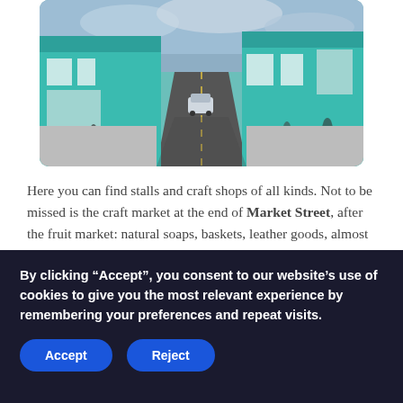[Figure (photo): Street scene showing a Caribbean market street (Market Street) with colorful teal shopfronts on both sides, pedestrians walking, a car, and overcast sky.]
Here you can find stalls and craft shops of all kinds. Not to be missed is the craft market at the end of Market Street, after the fruit market: natural soaps, baskets, leather goods, almost all made in Antigua.
If you go into the surroundings you will discover
By clicking “Accept”, you consent to our website’s use of cookies to give you the most relevant experience by remembering your preferences and repeat visits.